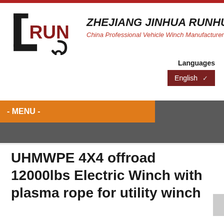[Figure (logo): LRUN logo with stylized L and RUN text in black and dark red, company name ZHEJIANG JINHUA RUNHUA CO.,LTD and tagline China Professional Vehicle Winch Manufacturer]
Languages
English
- MENU -
UHMWPE 4X4 offroad 12000lbs Electric Winch with plasma rope for utility winch